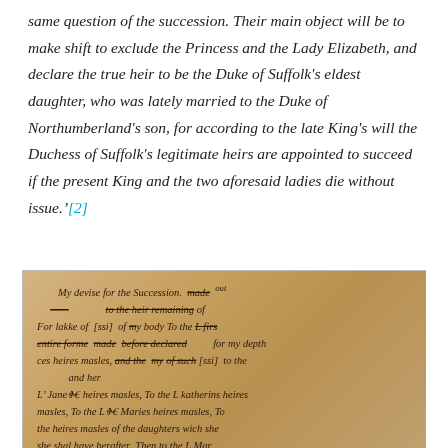same question of the succession. Their main object will be to make shift to exclude the Princess and the Lady Elizabeth, and declare the true heir to be the Duke of Suffolk's eldest daughter, who was lately married to the Duke of Northumberland's son, for according to the late King's will the Duchess of Suffolk's legitimate heirs are appointed to succeed if the present King and the two aforesaid ladies die without issue.'[2]
[Figure (photo): A photograph of a historical handwritten manuscript document, showing cursive secretary hand writing in ink on aged parchment/paper. The text appears to be Edward VI's 'My devise for the Succession' with crossed-out words and insertions visible. The document shows text beginning with 'My devise for the Succession' and continuing with passages about heirs male and succession of the Lady Jane, Lady Katherine, and Lady Mary.]